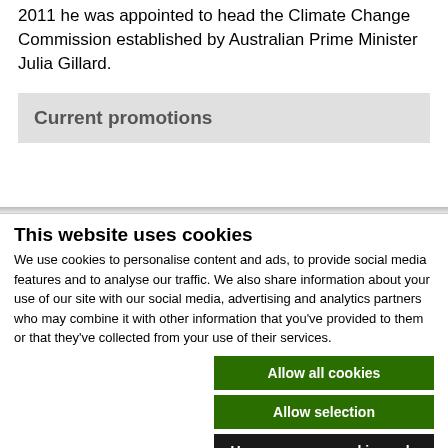2011 he was appointed to head the Climate Change Commission established by Australian Prime Minister Julia Gillard.
Current promotions
This website uses cookies
We use cookies to personalise content and ads, to provide social media features and to analyse our traffic. We also share information about your use of our site with our social media, advertising and analytics partners who may combine it with other information that you've provided to them or that they've collected from your use of their services.
Allow all cookies
Allow selection
Use necessary cookies only
Necessary   Preferences   Statistics   Marketing   Show details